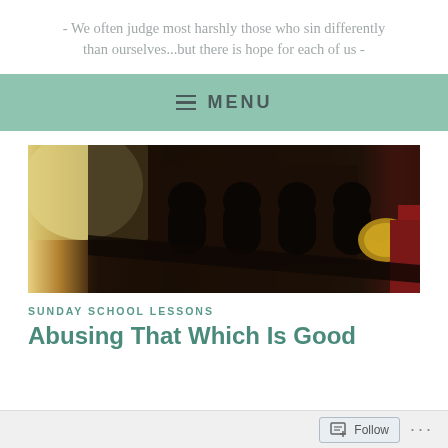- We often judge most harshly those who sin differently than ourselves...but there is hope for each of us -
≡ MENU
[Figure (photo): Close-up photo of dark wooden church pews with arched details and red velvet upholstery with gold trim, and an open book or papers visible on the left side, lit by warm light.]
SUNDAY SCHOOL LESSONS
Abusing That Which Is Good
Follow